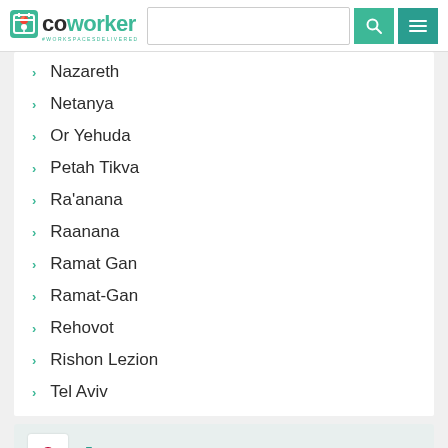coworker — #WORKSPACESDELIVERED
Nazareth
Netanya
Or Yehuda
Petah Tikva
Ra'anana
Raanana
Ramat Gan
Ramat-Gan
Rehovot
Rishon Lezion
Tel Aviv
Japan
Aizuwakamatsu